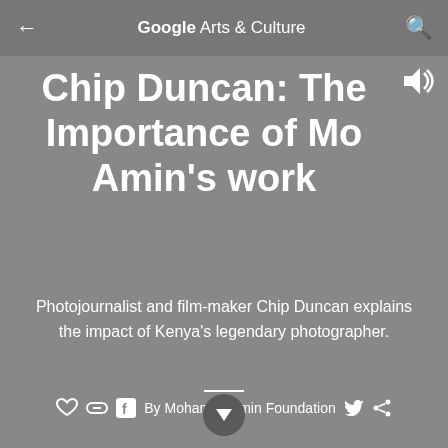Google Arts & Culture
Chip Duncan: The Importance of Mo Amin's work
Photojournalist and film-maker Chip Duncan explains the impact of Kenya's legendary photographer.
By Mohamed Amin Foundation